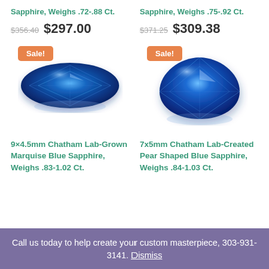Sapphire, Weighs .72-.88 Ct.
$356.40 $297.00
[Figure (photo): Marquise-cut blue sapphire gemstone with Sale! badge]
Sapphire, Weighs .75-.92 Ct.
$371.25 $309.38
[Figure (photo): Pear-shaped blue sapphire gemstone with Sale! badge]
9×4.5mm Chatham Lab-Grown Marquise Blue Sapphire, Weighs .83-1.02 Ct.
7x5mm Chatham Lab-Created Pear Shaped Blue Sapphire, Weighs .84-1.03 Ct.
Call us today to help create your custom masterpiece, 303-931-3141. Dismiss